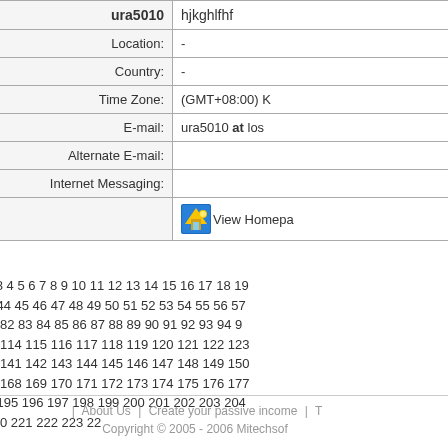| Field | Value |
| --- | --- |
| ura5010 | hjkghlfhf |
| Location: | - |
| Country: | - |
| Time Zone: | (GMT+08:00) K... |
| E-mail: | ura5010 at los... |
| Alternate E-mail: |  |
| Internet Messaging: |  |
|  | View Homepa... |
Page: 1 2 3 4 5 6 7 8 9 10 11 12 13 14 15 16 17 18 19... 41 42 43 44 45 46 47 48 49 50 51 52 53 54 55 56 57... 79 80 81 82 83 84 85 86 87 88 89 90 91 92 93 94 9... 112 113 114 115 116 117 118 119 120 121 122 123... 139 140 141 142 143 144 145 146 147 148 149 150... 166 167 168 169 170 171 172 173 174 175 176 177... 193 194 195 196 197 198 199 200 201 202 203 204... 220 221 222 223 22...
About Us | Create your passive income | T... Copyright © 2005 - 2006 Mitechsof...